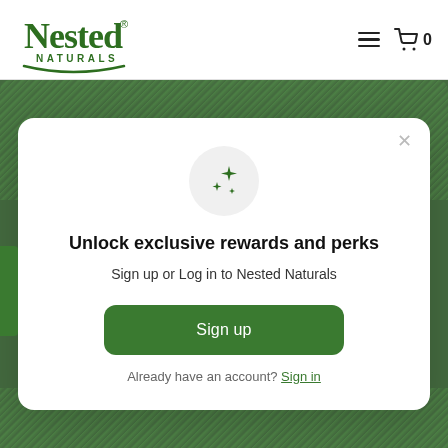[Figure (logo): Nested Naturals logo in green with swirl underline]
Nested Naturals header with hamburger menu and cart icon showing 0 items
[Figure (screenshot): Green textured background (dried spirulina powder) visible above and below the modal]
[Figure (infographic): Modal popup with sparkle icon, title, subtitle, sign up button, and sign in link]
Unlock exclusive rewards and perks
Sign up or Log in to Nested Naturals
Sign up
Already have an account? Sign in